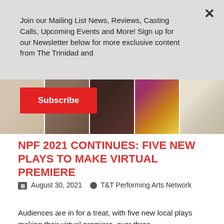Join our Mailing List News, Reviews, Casting Calls, Upcoming Events and More! Sign up for our Newsletter below for more exclusive content from The Trinidad and
Subscribe
[Figure (photo): A strip of five portrait photos showing five people from the shoulders up, representing performers or cast members.]
NPF 2021 CONTINUES: FIVE NEW PLAYS TO MAKE VIRTUAL PREMIERE
August 30, 2021  T&T Performing Arts Network
Audiences are in for a treat, with five new local plays making their virtual premiere, over three